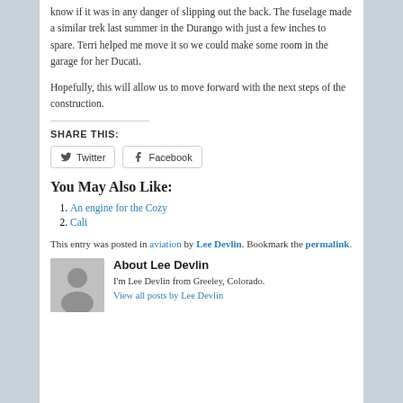know if it was in any danger of slipping out the back. The fuselage made a similar trek last summer in the Durango with just a few inches to spare. Terri helped me move it so we could make some room in the garage for her Ducati.
Hopefully, this will allow us to move forward with the next steps of the construction.
SHARE THIS:
Twitter | Facebook (share buttons)
You May Also Like:
An engine for the Cozy
Cali
This entry was posted in aviation by Lee Devlin. Bookmark the permalink.
About Lee Devlin
I'm Lee Devlin from Greeley, Colorado.